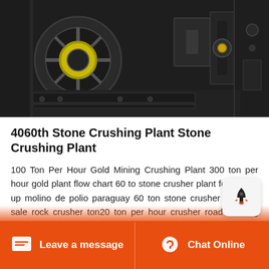[Figure (photo): Close-up photograph of industrial stone crushing machinery with dark metal components, gears, and mechanisms against a dark background]
4060th Stone Crushing Plant Stone Crushing Plant
100 Ton Per Hour Gold Mining Crushing Plant 300 ton per hour gold plant flow chart 60 to stone crusher plant for sale in up molino de polio paraguay 60 ton stone crusher plant for sale rock crusher ton20 ton per hour crusher road building equipment can lift a ton rock flow chart of 400 ton per hour rock crushing plant diagram 60 ton stone crusher plant for sale in up 20 mm crushed Oct 24 2021Stone
Leave a message   Chat Online